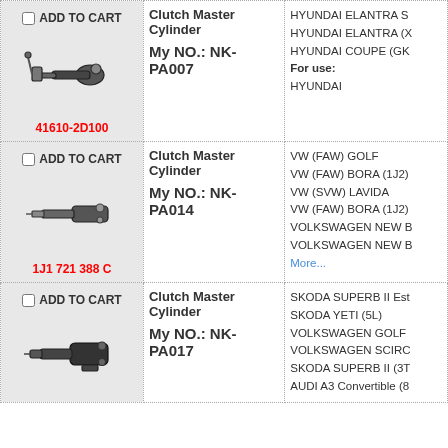| Cart | Product Name / Part No. | Compatibility |
| --- | --- | --- |
| ADD TO CART | 41610-2D100 | Clutch Master Cylinder
My NO.: NK-PA007 | HYUNDAI ELANTRA S
HYUNDAI ELANTRA (X
HYUNDAI COUPE (GK
For use:
HYUNDAI |
| ADD TO CART | 1J1 721 388 C | Clutch Master Cylinder
My NO.: NK-PA014 | VW (FAW) GOLF
VW (FAW) BORA (1J2)
VW (SVW) LAVIDA
VW (FAW) BORA (1J2)
VOLKSWAGEN NEW B
VOLKSWAGEN NEW B
More... |
| ADD TO CART | Clutch Master Cylinder
My NO.: NK-PA017 | SKODA SUPERB II Est
SKODA YETI (5L)
VOLKSWAGEN GOLF
VOLKSWAGEN SCIRC
SKODA SUPERB II (3T
AUDI A3 Convertible (8 |